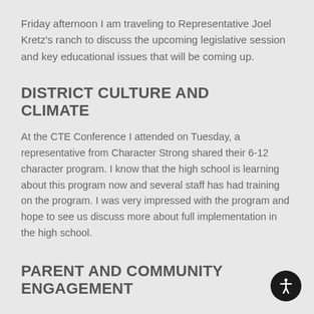Friday afternoon I am traveling to Representative Joel Kretz's ranch to discuss the upcoming legislative session and key educational issues that will be coming up.
DISTRICT CULTURE AND CLIMATE
At the CTE Conference I attended on Tuesday, a representative from Character Strong shared their 6-12 character program. I know that the high school is learning about this program now and several staff has had training on the program. I was very impressed with the program and hope to see us discuss more about full implementation in the high school.
PARENT AND COMMUNITY ENGAGEMENT